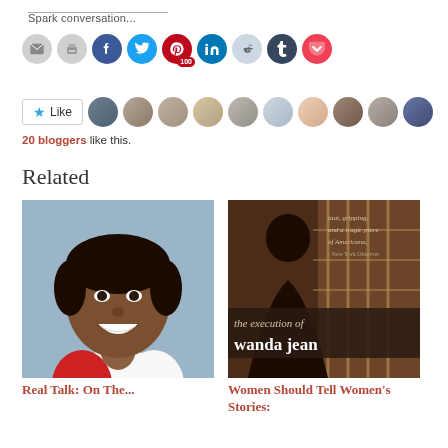Spark conversation...
[Figure (other): Social share icons: email, print, Facebook, Twitter, Pinterest (100), LinkedIn, Reddit, Tumblr, Pocket]
[Figure (other): Like button with star and 10 blogger avatar thumbnails]
20 bloggers like this.
Related
[Figure (photo): Photo of a young Black woman smiling, wearing a white/red athletic jacket]
Real Talk: On The...
[Figure (photo): Book/documentary cover: 'the execution of wanda jean' with text 'taut, gripping, and a tragic piece of Americana - New York Observer']
Women Should Tell Women's Stories: